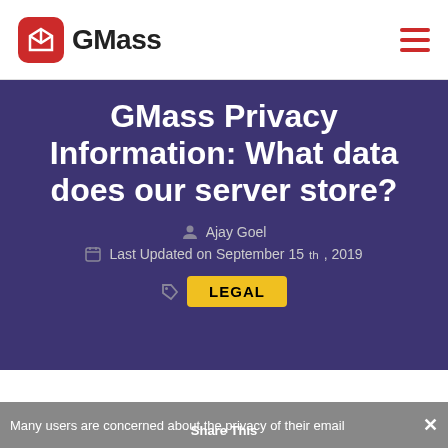[Figure (logo): GMass logo with red rounded square icon and GMass text, plus hamburger menu icon on the right]
GMass Privacy Information: What data does our server store?
Ajay Goel
Last Updated on September 15th, 2019
LEGAL
Many users are concerned about the privacy of their email